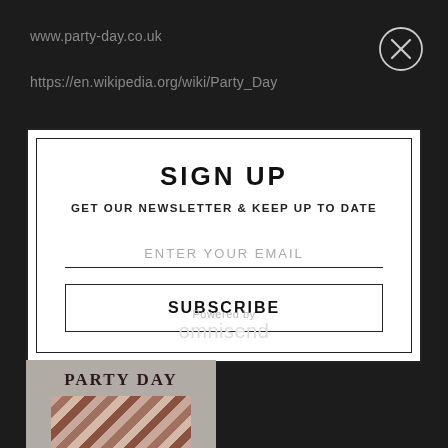www.party-day.co.uk
https://en.wikipedia.org/wiki/Party_Day
[Figure (other): Close/X button circle icon in top right corner]
SIGN UP
GET OUR NEWSLETTER & KEEP UP TO DATE
ENTER YOUR EMAIL
SUBSCRIBE
Powered by
omnisend
[Figure (other): Party Day card thumbnail showing text PARTY DAY and a partial image below]